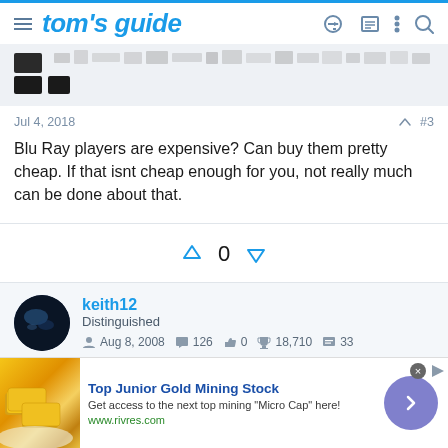tom's guide
[Figure (screenshot): Partial image strip showing icons/thumbnails in a light grey background]
Jul 4, 2018   #3
Blu Ray players are expensive? Can buy them pretty cheap. If that isnt cheap enough for you, not really much can be done about that.
[Figure (infographic): Vote buttons: up arrow, 0, down arrow in blue outline style]
keith12
Distinguished
Aug 8, 2008   126   0   18,710   33
[Figure (infographic): Advertisement: Top Junior Gold Mining Stock - Get access to the next top mining Micro Cap here! www.rivres.com]